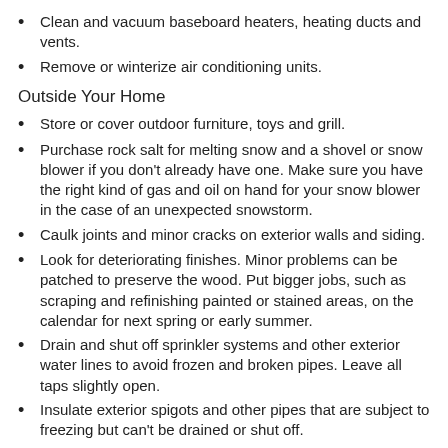Clean and vacuum baseboard heaters, heating ducts and vents.
Remove or winterize air conditioning units.
Outside Your Home
Store or cover outdoor furniture, toys and grill.
Purchase rock salt for melting snow and a shovel or snow blower if you don't already have one. Make sure you have the right kind of gas and oil on hand for your snow blower in the case of an unexpected snowstorm.
Caulk joints and minor cracks on exterior walls and siding.
Look for deteriorating finishes. Minor problems can be patched to preserve the wood. Put bigger jobs, such as scraping and refinishing painted or stained areas, on the calendar for next spring or early summer.
Drain and shut off sprinkler systems and other exterior water lines to avoid frozen and broken pipes. Leave all taps slightly open.
Insulate exterior spigots and other pipes that are subject to freezing but can't be drained or shut off.
Rake and compost leaves and garden debris, or put out for yard-waste pickup.